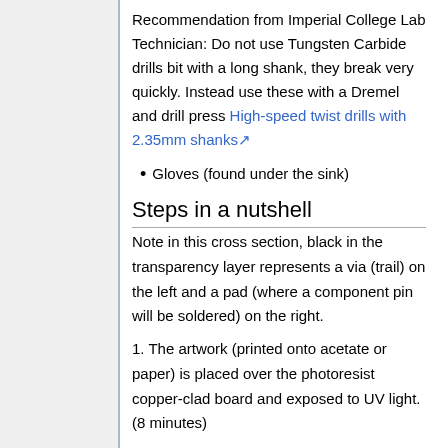Recommendation from Imperial College Lab Technician: Do not use Tungsten Carbide drills bit with a long shank, they break very quickly. Instead use these with a Dremel and drill press High-speed twist drills with 2.35mm shanks
Gloves (found under the sink)
Steps in a nutshell
Note in this cross section, black in the transparency layer represents a via (trail) on the left and a pad (where a component pin will be soldered) on the right.
1. The artwork (printed onto acetate or paper) is placed over the photoresist copper-clad board and exposed to UV light. (8 minutes)